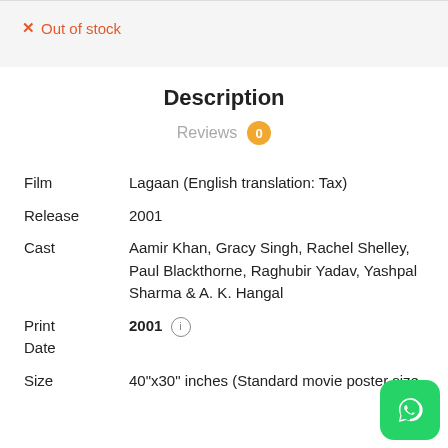× Out of stock
Description
Reviews 0
| Field | Value |
| --- | --- |
| Film | Lagaan (English translation: Tax) |
| Release | 2001 |
| Cast | Aamir Khan, Gracy Singh, Rachel Shelley, Paul Blackthorne, Raghubir Yadav, Yashpal Sharma & A. K. Hangal |
| Print Date | 2001 ℹ |
| Size | 40"x30" inches (Standard movie poster size |